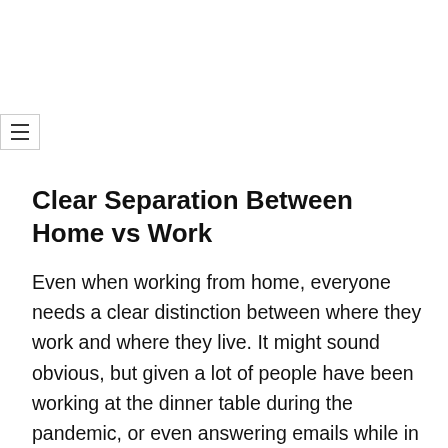[Figure (other): Hamburger menu icon button with three horizontal lines, bordered box on left side of page]
Clear Separation Between Home vs Work
Even when working from home, everyone needs a clear distinction between where they work and where they live. It might sound obvious, but given a lot of people have been working at the dinner table during the pandemic, or even answering emails while in bed – sometimes the lines can get blurred. All of which can lead to burnout, poor sleeping